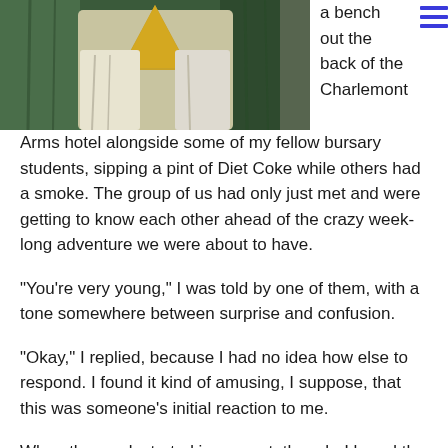[Figure (photo): Partial photo of a person wearing a gold/white outfit against a dark green curtain background, cropped at top of page]
a bench out the back of the Charlemont Arms hotel alongside some of my fellow bursary students, sipping a pint of Diet Coke while others had a smoke. The group of us had only just met and were getting to know each other ahead of the crazy week-long adventure we were about to have.
“You’re very young,” I was told by one of them, with a tone somewhere between surprise and confusion.
“Okay,” I replied, because I had no idea how else to respond. I found it kind of amusing, I suppose, that this was someone’s initial reaction to me.
When the week started in earnest, though, I heard the comment again. And again.